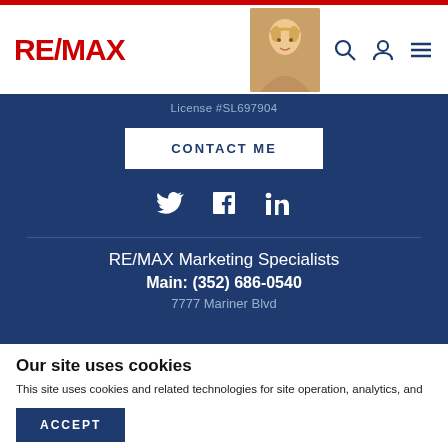[Figure (logo): RE/MAX logo in red text]
[Figure (photo): Agent headshot photo - blonde woman]
License #SL697904
CONTACT ME
[Figure (infographic): Social media icons: Twitter, Facebook, LinkedIn in white on dark blue background]
RE/MAX Marketing Specialists
Main: (352) 686-0540
7777 Mariner Blvd
Our site uses cookies
This site uses cookies and related technologies for site operation, analytics, and third party advertising purposes as described in our Privacy Notice .
ACCEPT